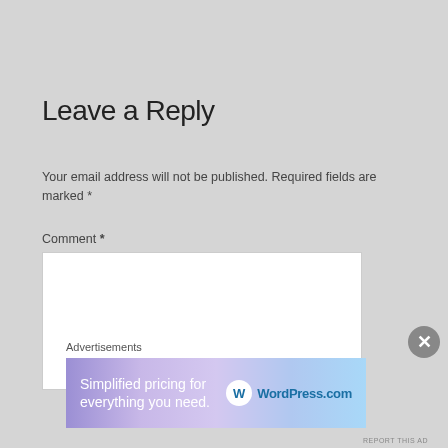Leave a Reply
Your email address will not be published. Required fields are marked *
Comment *
[Figure (screenshot): Empty comment text area input box]
Advertisements
[Figure (infographic): WordPress.com advertisement banner: Simplified pricing for everything you need.]
REPORT THIS AD